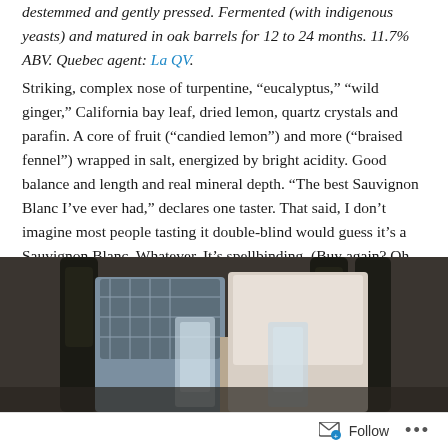destemmed and gently pressed. Fermented (with indigenous yeasts) and matured in oak barrels for 12 to 24 months. 11.7% ABV. Quebec agent: La QV.
Striking, complex nose of turpentine, “eucalyptus,” “wild ginger,” California bay leaf, dried lemon, quartz crystals and parafin. A core of fruit (“candied lemon”) and more (“braised fennel”) wrapped in salt, energized by bright acidity. Good balance and length and real mineral depth. “The best Sauvignon Blanc I’ve ever had,” declares one taster. That said, I don’t imagine most people tasting it double-blind would guess it’s a Sauvignon Blanc. Whatever. It’s spellbinding. (Buy again? Oh, yes.)
[Figure (photo): Photo of people at a table with dark wine bottles and glasses, one person wearing a plaid shirt on the left, another in white on the right]
Follow ...